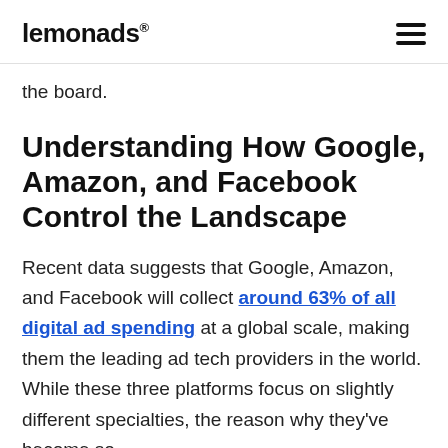lemonads®
the board.
Understanding How Google, Amazon, and Facebook Control the Landscape
Recent data suggests that Google, Amazon, and Facebook will collect around 63% of all digital ad spending at a global scale, making them the leading ad tech providers in the world. While these three platforms focus on slightly different specialties, the reason why they've become so